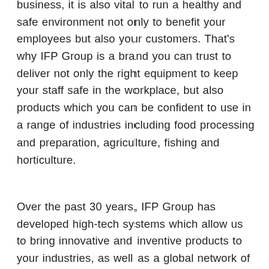business, it is also vital to run a healthy and safe environment not only to benefit your employees but also your customers. That's why IFP Group is a brand you can trust to deliver not only the right equipment to keep your staff safe in the workplace, but also products which you can be confident to use in a range of industries including food processing and preparation, agriculture, fishing and horticulture.
Over the past 30 years, IFP Group has developed high-tech systems which allow us to bring innovative and inventive products to your industries, as well as a global network of